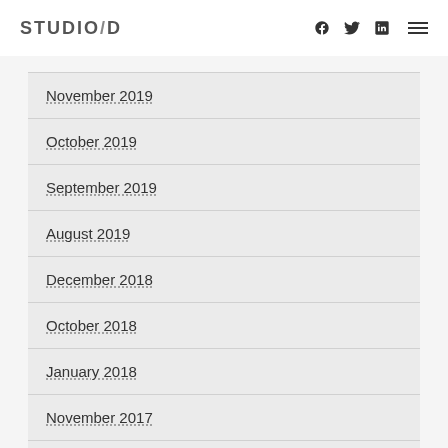STUDIO/D — navigation header with social icons
November 2019
October 2019
September 2019
August 2019
December 2018
October 2018
January 2018
November 2017
October 2017